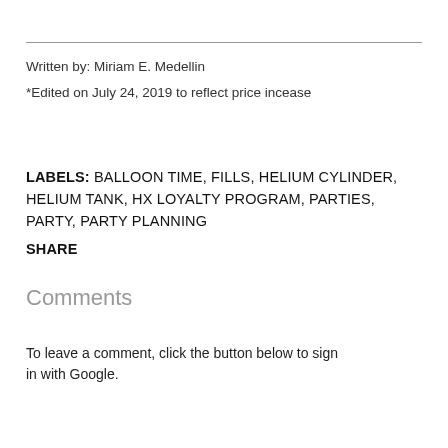Written by: Miriam E. Medellin
*Edited on July 24, 2019 to reflect price incease
LABELS: BALLOON TIME, FILLS, HELIUM CYLINDER, HELIUM TANK, HX LOYALTY PROGRAM, PARTIES, PARTY, PARTY PLANNING
SHARE
Comments
To leave a comment, click the button below to sign in with Google.